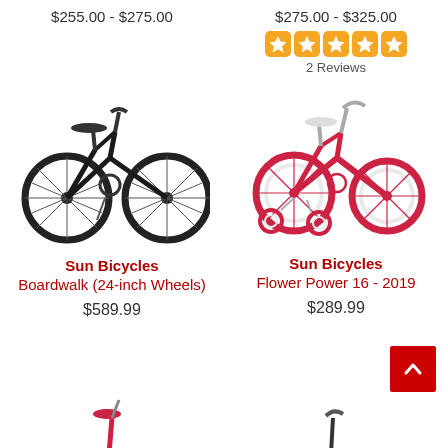$255.00 - $275.00
$275.00 - $325.00
2 Reviews
[Figure (photo): Black adult cruiser bicycle (Sun Bicycles Boardwalk 24-inch Wheels)]
[Figure (photo): Pink/red children's bicycle with training wheels (Sun Bicycles Flower Power 16 - 2019)]
Sun Bicycles
Boardwalk (24-inch Wheels)
$589.99
Sun Bicycles
Flower Power 16 - 2019
$289.99
[Figure (photo): Partial bicycle image bottom left (cropped)]
[Figure (photo): Partial bicycle image bottom right (cropped)]